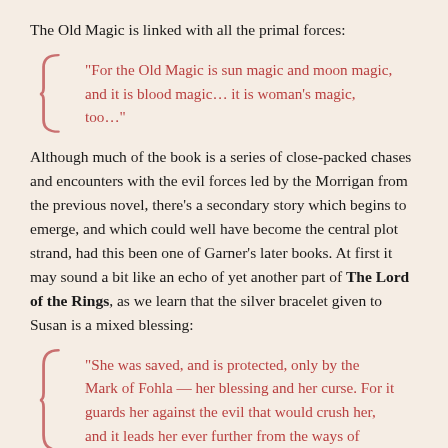The Old Magic is linked with all the primal forces:
“For the Old Magic is sun magic and moon magic, and it is blood magic… it is woman’s magic, too…”
Although much of the book is a series of close-packed chases and encounters with the evil forces led by the Morrigan from the previous novel, there’s a secondary story which begins to emerge, and which could well have become the central plot strand, had this been one of Garner’s later books. At first it may sound a bit like an echo of yet another part of The Lord of the Rings, as we learn that the silver bracelet given to Susan is a mixed blessing:
“She was saved, and is protected, only by the Mark of Fohla — her blessing and her curse. For it guards her against the evil that would crush her, and it leads her ever further from the ways of